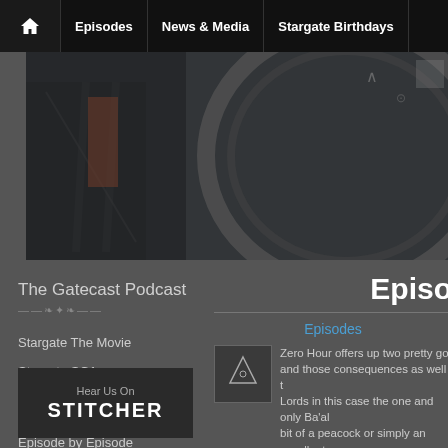Home | Episodes | News & Media | Stargate Birthdays
[Figure (photo): Hero image showing dark metallic stargate or sci-fi structure detail]
The Gatecast Podcast
Episo...
Stargate The Movie
Stargate SG1
Stargate Atlantis
Stargate Universe
Episode by Episode
Stargate Forever
Episodes
[Figure (thumbnail): Small thumbnail image with stargate symbol]
Zero Hour offers up two pretty go... and those consequences as well t... Lords in this case the one and only Ba'al ... bit of a peacock or simply an excellent ex...
Meanwhile an alien plant has run riot and... issues which prevents the use of the gate...
[Figure (logo): Hear Us On STITCHER banner]